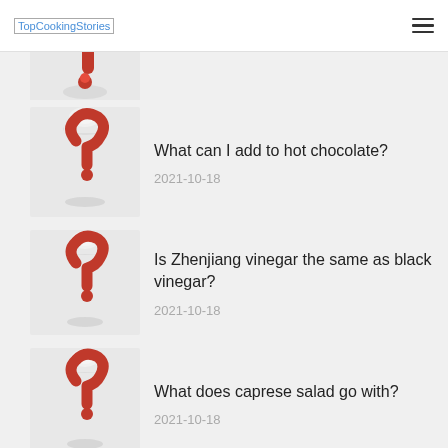TopCookingStories
[Figure (illustration): Partial chef question mark illustration (top cropped)]
What can I add to hot chocolate?
2021-10-18
[Figure (illustration): Chef question mark illustration]
Is Zhenjiang vinegar the same as black vinegar?
2021-10-18
[Figure (illustration): Chef question mark illustration]
What does caprese salad go with?
2021-10-18